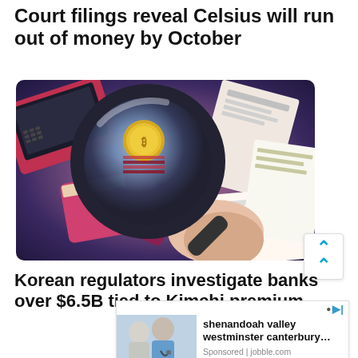Court filings reveal Celsius will run out of money by October
[Figure (illustration): Illustration of a magnifying glass held over a pile of documents, credit cards, laptops and financial papers, with a gold coin visible through the lens. Art style is stylized/comic with red, purple, and beige tones.]
Korean regulators investigate banks over $6.5B tied to Kimchi premium
[Figure (photo): Advertisement photo showing an elderly patient and a nurse/caregiver in medical scrubs, partially visible.]
shenandoah valley westminster canterbury…
Sponsored | jobble.com